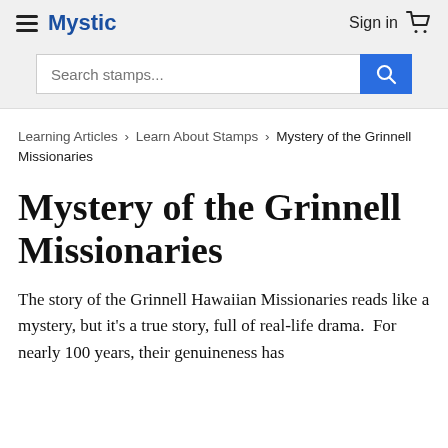Mystic  Sign in
[Figure (screenshot): Search bar with placeholder text 'Search stamps...' and blue search button with magnifying glass icon]
Learning Articles › Learn About Stamps › Mystery of the Grinnell Missionaries
Mystery of the Grinnell Missionaries
The story of the Grinnell Hawaiian Missionaries reads like a mystery, but it's a true story, full of real-life drama.  For nearly 100 years, their genuineness has